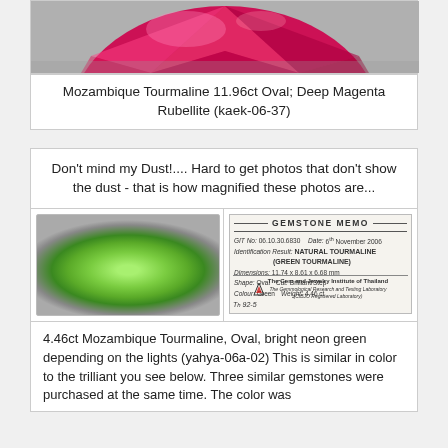[Figure (photo): Top portion of a deep magenta/pink oval cut Mozambique Tourmaline gemstone (Rubellite) against a gray background, cropped so only the top half is visible]
Mozambique Tourmaline 11.96ct Oval; Deep Magenta Rubellite (kaek-06-37)
Don't mind my Dust!.... Hard to get photos that don't show the dust - that is how magnified these photos are...
[Figure (photo): Bright neon green oval cut Mozambique Tourmaline gemstone against gray background]
[Figure (photo): GIT Gemstone Memo certificate from The Gem and Jewelry Institute of Thailand for a Natural Tourmaline (Green Tourmaline), GIT No. 06.10.30.6830, Date: 6th November 2006, Dimensions: 11.74 x 8.61 x 6.68 mm, Shape: Oval, Cut: Brilliant/Step, Colour: Green, Weight: 4.46 ct]
4.46ct Mozambique Tourmaline, Oval, bright neon green depending on the lights (yahya-06a-02) This is similar in color to the trilliant you see below. Three similar gemstones were purchased at the same time. The color was